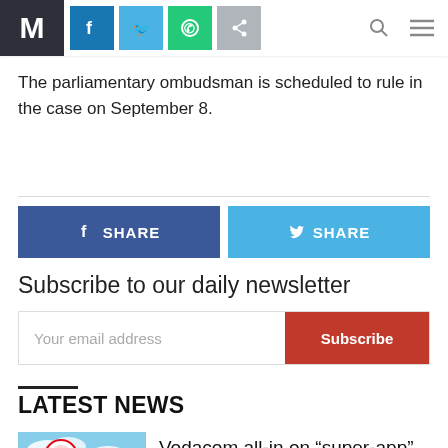M [logo] | Facebook | Twitter | WhatsApp | Share | Search | Menu
The parliamentary ombudsman is scheduled to rule in the case on September 8.
[Figure (other): Facebook Share button (blue) and Twitter Share button (light blue)]
Subscribe to our daily newsletter
Your email address [Subscribe button]
LATEST NEWS
[Figure (photo): Vodacom sign with palm trees and blue sky]
Vodacom all-in on “super-app”